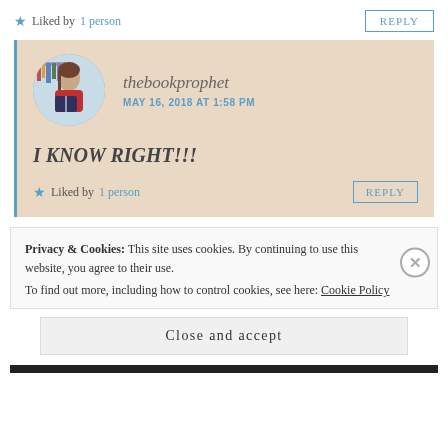Liked by 1 person
REPLY
thebookprophet
MAY 16, 2018 AT 1:58 PM
I KNOW RIGHT!!!
Liked by 1 person
REPLY
Privacy & Cookies: This site uses cookies. By continuing to use this website, you agree to their use.
To find out more, including how to control cookies, see here: Cookie Policy
Close and accept